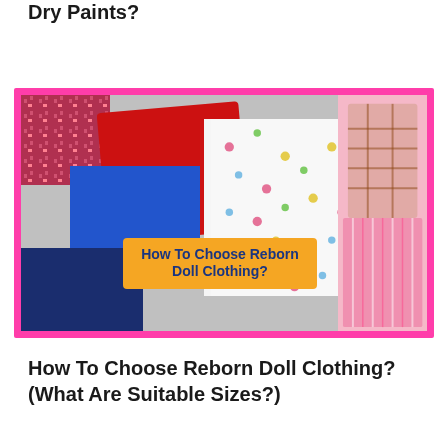Dry Paints?
[Figure (photo): A flat lay of colorful reborn doll clothing items including a red jacket, blue polka dot dress, navy garment, white floral print dress, and pink clothing items. A yellow banner overlay reads 'How To Choose Reborn Doll Clothing?']
How To Choose Reborn Doll Clothing? (What Are Suitable Sizes?)